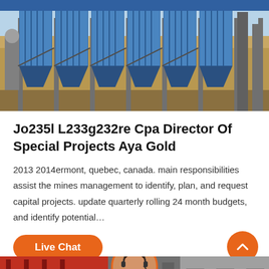[Figure (photo): Industrial facility with blue dust collector/filter units on steel frame structure, outdoor industrial setting]
Jo235l L233g232re Cpa Director Of Special Projects Aya Gold
2013 2014ermont, quebec, canada. main responsibilities assist the mines management to identify, plan, and request capital projects. update quarterly rolling 24 month budgets, and identify potential…
Live Chat
[Figure (photo): Industrial facility bottom strip, customer service representative with headset avatar circle]
Leave Message
Chat Online